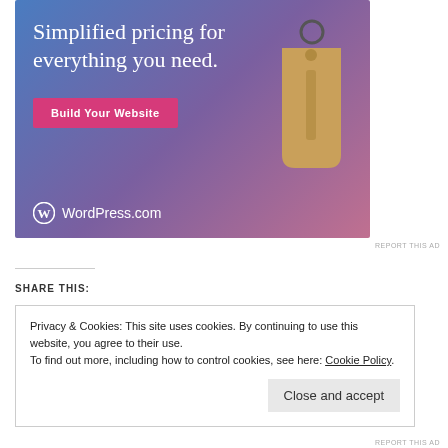[Figure (illustration): WordPress.com advertisement banner with gradient blue-purple-pink background, price tag illustration, 'Simplified pricing for everything you need.' headline, pink 'Build Your Website' button, and WordPress.com logo]
REPORT THIS AD
SHARE THIS:
Privacy & Cookies: This site uses cookies. By continuing to use this website, you agree to their use.
To find out more, including how to control cookies, see here: Cookie Policy
Close and accept